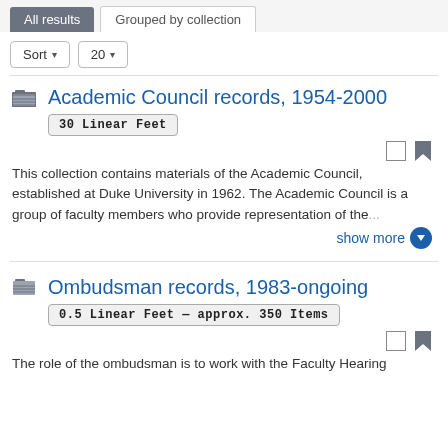All results | Grouped by collection
Sort ▾  20 ▾
Academic Council records, 1954-2000
30 Linear Feet
This collection contains materials of the Academic Council, established at Duke University in 1962. The Academic Council is a group of faculty members who provide representation of the...
show more
Ombudsman records, 1983-ongoing
0.5 Linear Feet — approx. 350 Items
The role of the ombudsman is to work with the Faculty Hearing